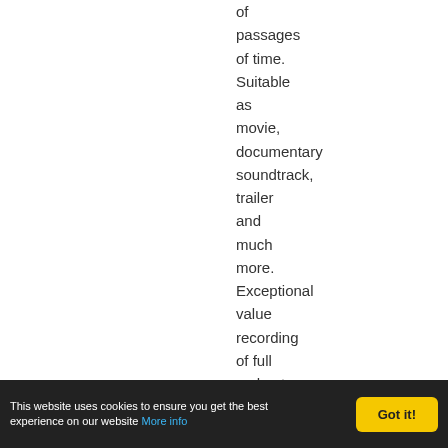of passages of time. Suitable as movie, documentary soundtrack, trailer and much more. Exceptional value recording of full orchestra and piano. Orchestration includes piano, strings, french harp,
This website uses cookies to ensure you get the best experience on our website More info